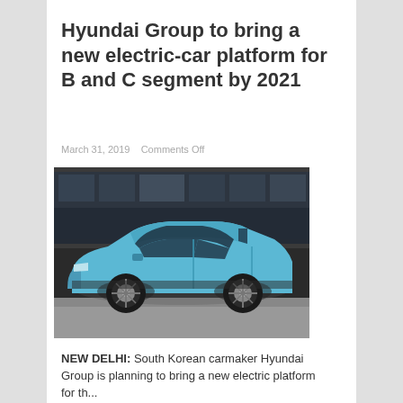Hyundai Group to bring a new electric-car platform for B and C segment by 2021
March 31, 2019    Comments Off
[Figure (photo): A blue Hyundai electric SUV (Kona Electric) photographed in profile against a modern glass building background]
NEW DELHI: South Korean carmaker Hyundai Group is planning to bring a new electric platform for th...